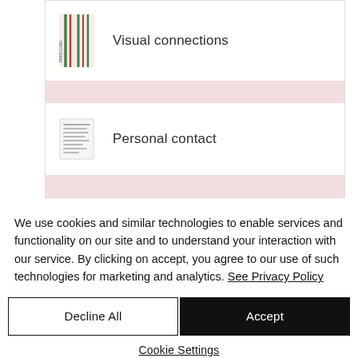[Figure (illustration): Thumbnail of a book cover with diagonal colored stripes (green, red, white) and text 'PIPPO CIABRI' vertically along spine]
Visual connections
[Figure (illustration): Small thumbnail of a document or text page with dense small text]
Personal contact
We use cookies and similar technologies to enable services and functionality on our site and to understand your interaction with our service. By clicking on accept, you agree to our use of such technologies for marketing and analytics. See Privacy Policy
Decline All
Accept
Cookie Settings